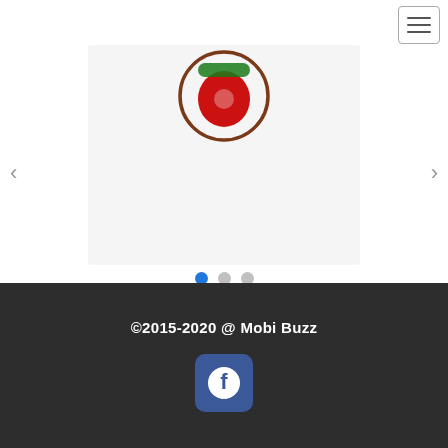[Figure (screenshot): Navigation hamburger menu button in top-right corner]
[Figure (screenshot): Left navigation arrow for image carousel]
[Figure (screenshot): Right navigation arrow for image carousel]
[Figure (logo): Carousel slide area showing a circular logo with red and green elements on light gray background]
[Figure (other): Carousel navigation dots: one blue active dot and two gray inactive dots]
©2015-2020 @ Mobi Buzz
[Figure (logo): Facebook social media icon button with rounded corners in blue]